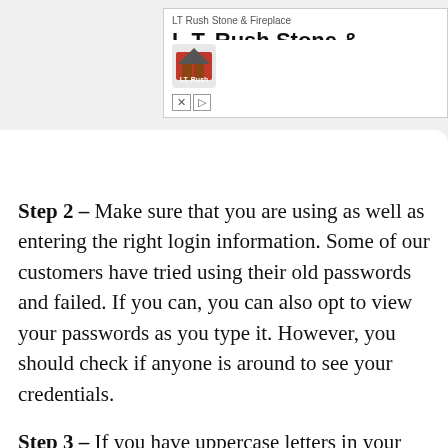[Figure (screenshot): Advertisement banner for L.T. Rush Stone & Fireplace with logo, brand name, and ad controls (X and play button)]
Step 2 – Make sure that you are using as well as entering the right login information. Some of our customers have tried using their old passwords and failed. If you can, you can also opt to view your passwords as you type it. However, you should check if anyone is around to see your credentials.
Step 3 – If you have uppercase letters in your passwords, be sure to punch them in at the right place. If all the letters in your passwords are in uppercase, check if you're using CAPS LOCK.
Step 4 – If the form has a phone number field, it's likely that...